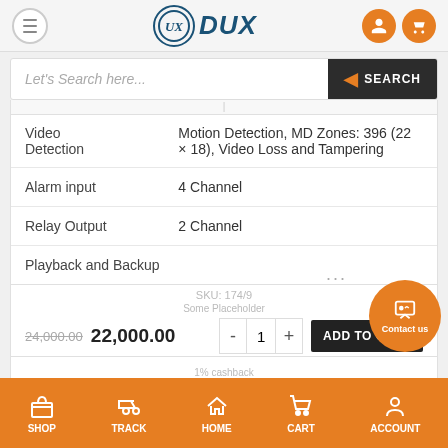[Figure (screenshot): UX DUX e-commerce website header with hamburger menu, logo, user and cart icons]
Let's Search here...
| Feature | Specification |
| --- | --- |
| Video Detection | Motion Detection, MD Zones: 396 (22 × 18), Video Loss and Tampering |
| Alarm input | 4 Channel |
| Relay Output | 2 Channel |
| Playback and Backup |  |
SKU: 174/9
24,000.00  22,000.00
BUY NOW
SHOP  TRACK  HOME  CART  ACCOUNT